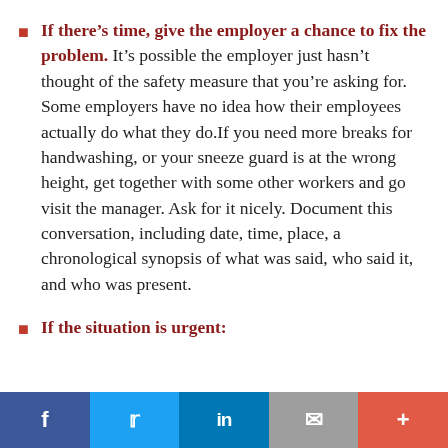If there's time, give the employer a chance to fix the problem. It's possible the employer just hasn't thought of the safety measure that you're asking for. Some employers have no idea how their employees actually do what they do.If you need more breaks for handwashing, or your sneeze guard is at the wrong height, get together with some other workers and go visit the manager. Ask for it nicely. Document this conversation, including date, time, place, a chronological synopsis of what was said, who said it, and who was present.
If the situation is urgent: